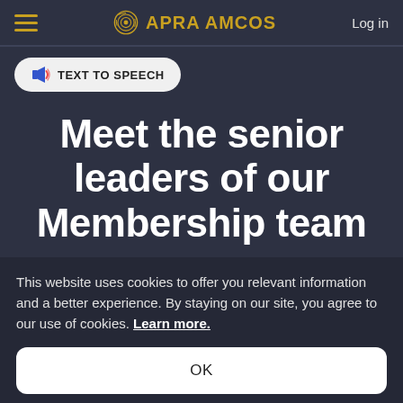APRA AMCOS   Log in
TEXT TO SPEECH
Meet the senior leaders of our Membership team
This website uses cookies to offer you relevant information and a better experience. By staying on our site, you agree to our use of cookies. Learn more.
OK